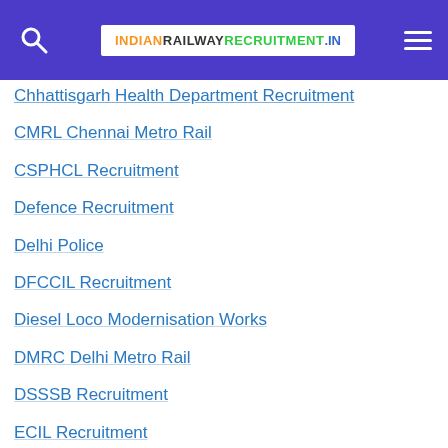Indian Railway Recruitment .IN
Chhattisgarh Health Department Recruitment
CMRL Chennai Metro Rail
CSPHCL Recruitment
Defence Recruitment
Delhi Police
DFCCIL Recruitment
Diesel Loco Modernisation Works
DMRC Delhi Metro Rail
DSSSB Recruitment
ECIL Recruitment
Education Recruitment Board Recruitment
EMRS Teaching Staff Selection Exam Recruitment
GAIL Recruitment
GLPC- Gujarat Livelihood Promotion Company